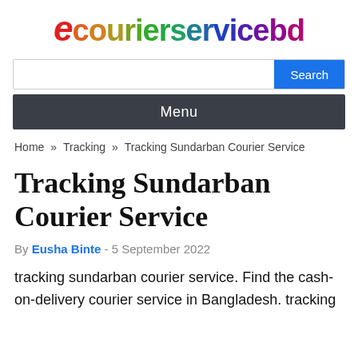[Figure (logo): ecourierservicebd logo with stylized 'e' in red and colorful gradient text]
Search
Menu
Home » Tracking » Tracking Sundarban Courier Service
Tracking Sundarban Courier Service
By Eusha Binte - 5 September 2022
tracking sundarban courier service. Find the cash-on-delivery courier service in Bangladesh. tracking